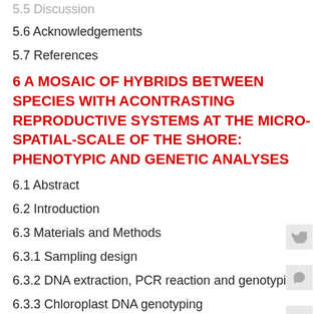5.5 Discussion
5.6 Acknowledgements
5.7 References
6 A MOSAIC OF HYBRIDS BETWEEN SPECIES WITH ACONTRASTING REPRODUCTIVE SYSTEMS AT THE MICRO-SPATIAL-SCALE OF THE SHORE: PHENOTYPIC AND GENETIC ANALYSES
6.1 Abstract
6.2 Introduction
6.3 Materials and Methods
6.3.1 Sampling design
6.3.2 DNA extraction, PCR reaction and genotyping
6.3.3 Chloroplast DNA genotyping
6.3.4 Genetic analyses
6.3.5 Spatial auto-correlation
6.3.6 Phenotypic analyses